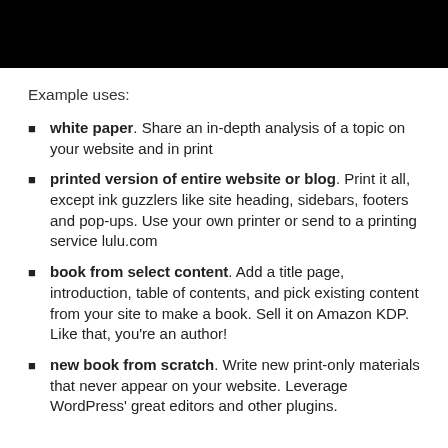[Figure (other): Black bar image/banner at top of page]
Example uses:
white paper. Share an in-depth analysis of a topic on your website and in print
printed version of entire website or blog. Print it all, except ink guzzlers like site heading, sidebars, footers and pop-ups. Use your own printer or send to a printing service lulu.com
book from select content. Add a title page, introduction, table of contents, and pick existing content from your site to make a book. Sell it on Amazon KDP. Like that, you're an author!
new book from scratch. Write new print-only materials that never appear on your website. Leverage WordPress' great editors and other plugins.